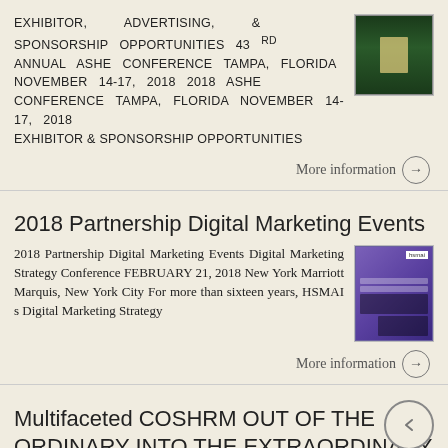EXHIBITOR, ADVERTISING, & SPONSORSHIP OPPORTUNITIES 43 rd Annual ASHE Conference Tampa, Florida November 14-17, 2018 2018 ASHE Conference Tampa, Florida November 14-17, 2018 EXHIBITOR & SPONSORSHIP OPPORTUNITIES
More information →
2018 Partnership Digital Marketing Events
2018 Partnership Digital Marketing Events Digital Marketing Strategy Conference FEBRUARY 21, 2018 New York Marriott Marquis, New York City For more than sixteen years, HSMAI s Digital Marketing Strategy
More information →
Multifaceted COSHRM OUT OF THE ORDINARY INTO THE EXTRAORDINARY